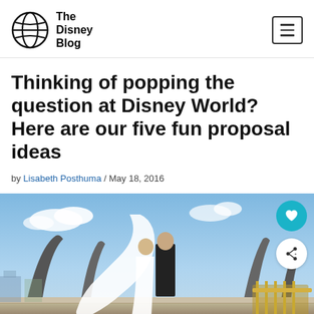The Disney Blog
Thinking of popping the question at Disney World? Here are our five fun proposal ideas
by Lisabeth Posthuma / May 18, 2016
[Figure (photo): A bride and groom in formal wedding attire standing close together, the bride's veil flowing in the wind, with Disney park architecture visible in the background under a blue sky.]